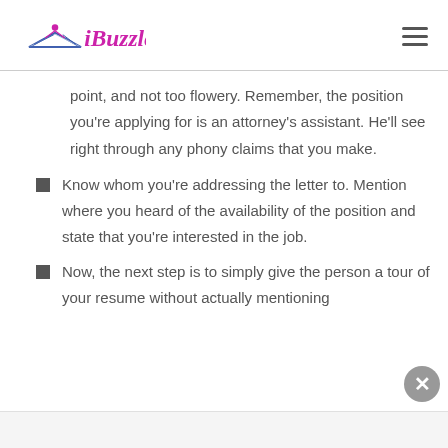iBuzzle
point, and not too flowery. Remember, the position you’re applying for is an attorney’s assistant. He’ll see right through any phony claims that you make.
Know whom you’re addressing the letter to. Mention where you heard of the availability of the position and state that you’re interested in the job.
Now, the next step is to simply give the person a tour of your resume without actually mentioning